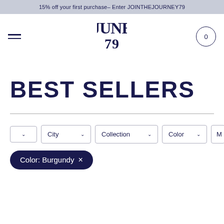15% off your first purchase- Enter JOINTHEJOURNEY79
[Figure (logo): June 79 brand logo in dark navy blue, stylized serif lettering]
BEST SELLERS
Filter dropdowns: (blank), City, Collection, Color, M...
Color: Burgundy ×